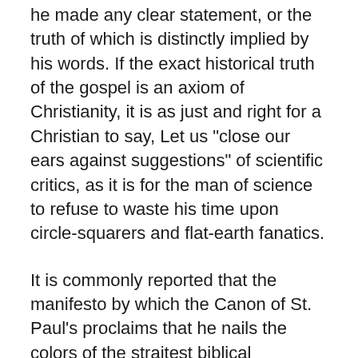he made any clear statement, or the truth of which is distinctly implied by his words. If the exact historical truth of the gospel is an axiom of Christianity, it is as just and right for a Christian to say, Let us "close our ears against suggestions" of scientific critics, as it is for the man of science to refuse to waste his time upon circle-squarers and flat-earth fanatics.
It is commonly reported that the manifesto by which the Canon of St. Paul's proclaims that he nails the colors of the straitest biblical infallibility to the mast of the ship ecclesiastical, was put forth as a counterblast to Lux Mundi; and that the passages which I have more particularly quoted are directed against the essay on The Holy Spirit and Inspiration in that collection of treatises by Anglican divines of high standing, who must assuredly be acquitted of conscious "infidel" proclivities. I fancy that